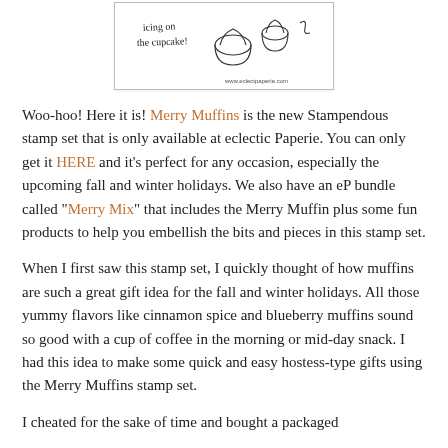[Figure (illustration): A sketch illustration of muffins with text 'icing on the cupcake!' and decorative figures. Website www.eclectpaperie.com shown at bottom right of image.]
Woo-hoo! Here it is! Merry Muffins is the new Stampendous stamp set that is only available at eclectic Paperie. You can only get it HERE and it's perfect for any occasion, especially the upcoming fall and winter holidays. We also have an eP bundle called "Merry Mix" that includes the Merry Muffin plus some fun products to help you embellish the bits and pieces in this stamp set.
When I first saw this stamp set, I quickly thought of how muffins are such a great gift idea for the fall and winter holidays. All those yummy flavors like cinnamon spice and blueberry muffins sound so good with a cup of coffee in the morning or mid-day snack. I had this idea to make some quick and easy hostess-type gifts using the Merry Muffins stamp set.
I cheated for the sake of time and bought a packaged